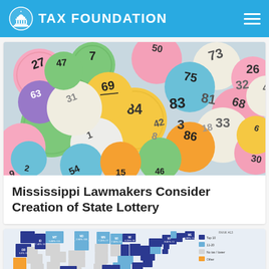TAX FOUNDATION
[Figure (photo): Colorful lottery balls with numbers including 69, 73, 26, 81, 32, 84, 86, 33, 5, 7, 63, 3, 1, 9, 29, 68, 54, 30 and others scattered together]
Mississippi Lawmakers Consider Creation of State Lottery
[Figure (map): US state map showing tax rates by state with various colors (dark blue, medium blue, light blue, gray, orange) and state labels with percentages and rankings]